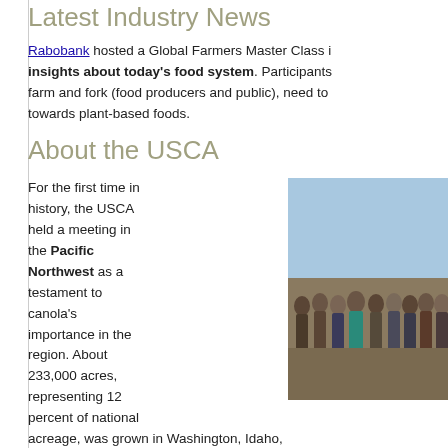Latest Industry News
Rabobank hosted a Global Farmers Master Class in insights about today's food system. Participants farm and fork (food producers and public), need to towards plant-based foods.
About the USCA
For the first time in history, the USCA held a meeting in the Pacific Northwest as a testament to canola's importance in the region. About 233,000 acres, representing 12 percent of national acreage, was grown in Washington, Idaho, Montana enough to supply a whopping 40 percent of the full facility in Warden, Wash. Learn more about canola
[Figure (photo): Group photo of USCA meeting attendees standing outdoors in the Pacific Northwest]